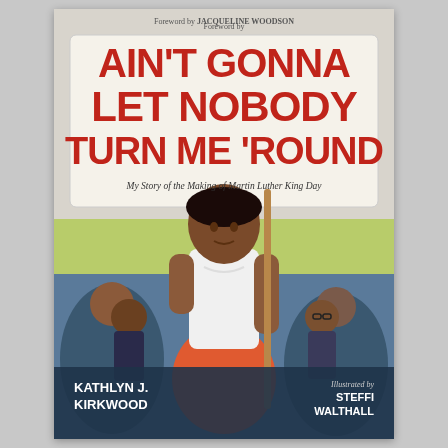[Figure (illustration): Book cover illustration for 'Ain't Gonna Let Nobody Turn Me 'Round: My Story of the Making of Martin Luther King Day' by Kathlyn J. Kirkwood, illustrated by Steffi Walthall. Cover shows a young Black girl in a white blouse and orange skirt holding a protest sign, standing confidently in front of a crowd of civil rights marchers. Background features a green grassy area and blue sky. Dr. Martin Luther King Jr. is visible in the crowd to the left. The title is displayed in large red bold lettering on a banner at the top.]
Foreword by JACQUELINE WOODSON
AIN'T GONNA LET NOBODY TURN ME 'ROUND
My Story of the Making of Martin Luther King Day
KATHLYN J. KIRKWOOD
Illustrated by STEFFI WALTHALL